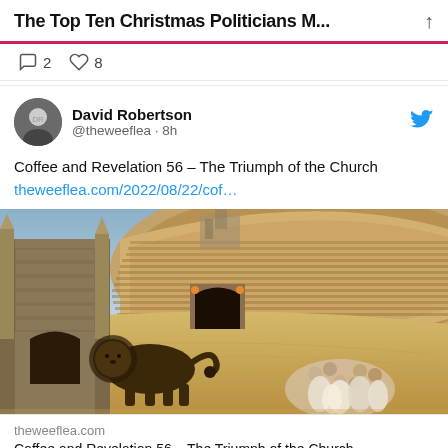The Top Ten Christmas Politicians M...
2  8
David Robertson @theweeflea · 8h
Coffee and Revelation 56 – The Triumph of the Church theweeflea.com/2022/08/22/cof…
[Figure (photo): Painting of a Roman Colosseum arena scene with a lion on the left side and a group of people huddled together on the right, with a packed audience visible in the curved grandstands]
theweeflea.com
Coffee and Revelation 56 – The Triumph of the Church